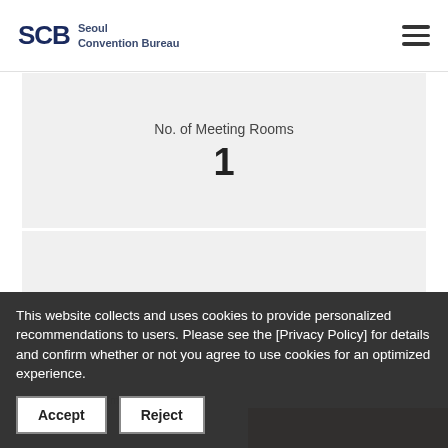[Figure (logo): Seoul Convention Bureau (SCB) logo with hamburger menu icon]
No. of Meeting Rooms
1
This website collects and uses cookies to provide personalized recommendations to users. Please see the [Privacy Policy] for details and confirm whether or not you agree to use cookies for an optimized experience.
Accept
Reject